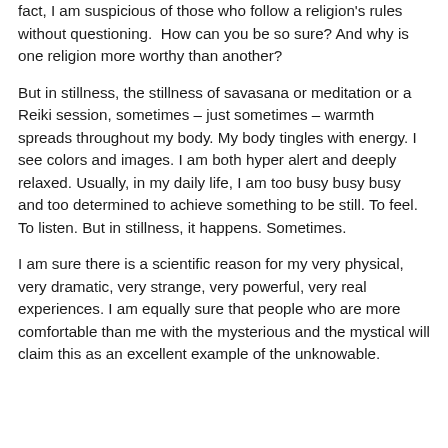fact, I am suspicious of those who follow a religion's rules without questioning.  How can you be so sure? And why is one religion more worthy than another?
But in stillness, the stillness of savasana or meditation or a Reiki session, sometimes – just sometimes – warmth spreads throughout my body. My body tingles with energy. I see colors and images. I am both hyper alert and deeply relaxed. Usually, in my daily life, I am too busy busy busy and too determined to achieve something to be still. To feel. To listen. But in stillness, it happens. Sometimes.
I am sure there is a scientific reason for my very physical, very dramatic, very strange, very powerful, very real experiences. I am equally sure that people who are more comfortable than me with the mysterious and the mystical will claim this as an excellent example of the unknowable.